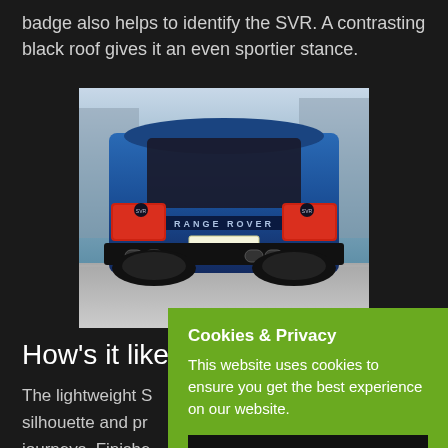badge also helps to identify the SVR. A contrasting black roof gives it an even sportier stance.
[Figure (photo): Rear view of a blue Range Rover Sport SVR with license plate WCC 501, shot against an industrial background.]
How's it like
The lightweight S silhouette and pr journeys. Finishe leather, the SVR Performance seats reflect the SVR's status
Cookies & Privacy
This website uses cookies to ensure you get the best experience on our website.
Accept